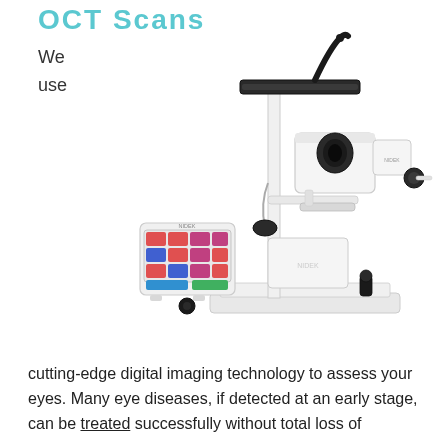OCT Scans
We use
[Figure (photo): OCT (Optical Coherence Tomography) scanner machine - a white slit-lamp style ophthalmic imaging device with a separate control panel/tablet with colorful buttons, on a white background]
cutting-edge digital imaging technology to assess your eyes. Many eye diseases, if detected at an early stage, can be treated successfully without total loss of